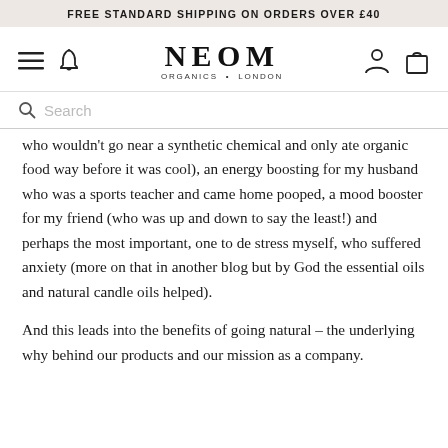FREE STANDARD SHIPPING ON ORDERS OVER £40
[Figure (logo): NEOM ORGANICS · LONDON logo with navigation icons: hamburger menu, bell icon, person icon, shopping bag icon]
Search
who wouldn't go near a synthetic chemical and only ate organic food way before it was cool), an energy boosting for my husband who was a sports teacher and came home pooped, a mood booster for my friend (who was up and down to say the least!) and perhaps the most important, one to de stress myself, who suffered anxiety (more on that in another blog but by God the essential oils and natural candle oils helped).
And this leads into the benefits of going natural – the underlying why behind our products and our mission as a company.